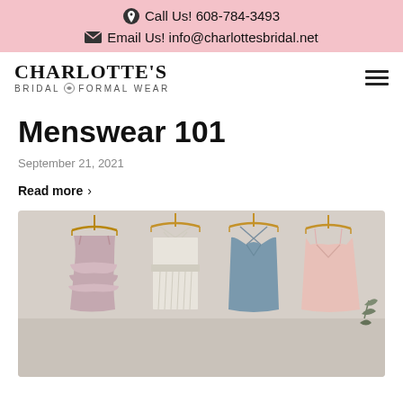Call Us! 608-784-3493
Email Us! info@charlottesbridal.net
[Figure (logo): Charlotte's Bridal & Formal Wear logo with hamburger menu icon]
Menswear 101
September 21, 2021
Read more >
[Figure (photo): Bridesmaid dresses in pastel colors (mauve, white, dusty blue, blush pink) hanging on wooden hangers against a neutral wall]